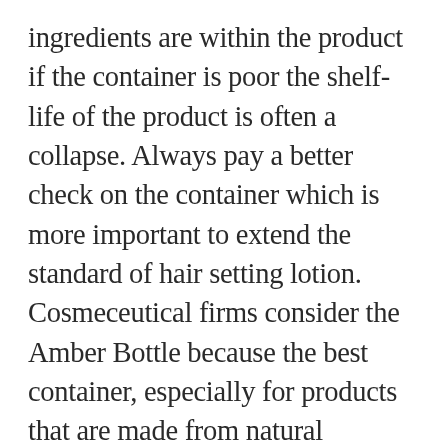ingredients are within the product if the container is poor the shelf-life of the product is often a collapse. Always pay a better check on the container which is more important to extend the standard of hair setting lotion. Cosmeceutical firms consider the Amber Bottle because the best container, especially for products that are made from natural ingredients. This sort of container protects the merchandise from worsening caused by light or UV rays. Moreover, it is often an indicator of the very fact that what proportion product you're getting for a